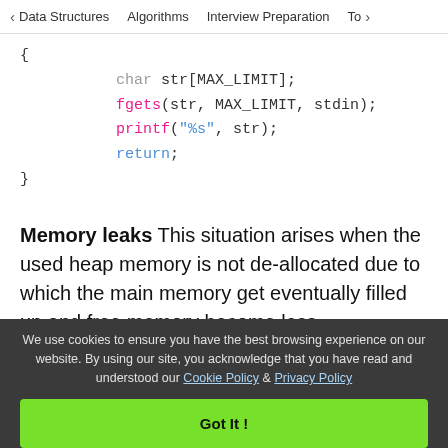< Data Structures   Algorithms   Interview Preparation   To>
{
    char str[MAX_LIMIT];
    fgets(str, MAX_LIMIT, stdin);
    printf("%s", str);
    return;
}
Memory leaks This situation arises when the used heap memory is not de-allocated due to which the main memory get eventually filled up and free memory become less.
We use cookies to ensure you have the best browsing experience on our website. By using our site, you acknowledge that you have read and understood our Cookie Policy & Privacy Policy
Got It !